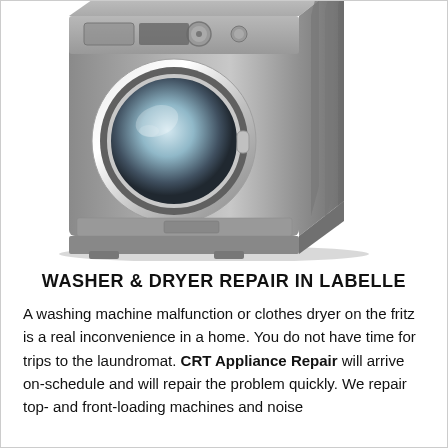[Figure (illustration): A silver/grey front-loading washing machine with chrome door ring, shown in 3/4 perspective view on a white background.]
WASHER & DRYER REPAIR IN LABELLE
A washing machine malfunction or clothes dryer on the fritz is a real inconvenience in a home. You do not have time for trips to the laundromat. CRT Appliance Repair will arrive on-schedule and will repair the problem quickly. We repair top- and front-loading machines and noise